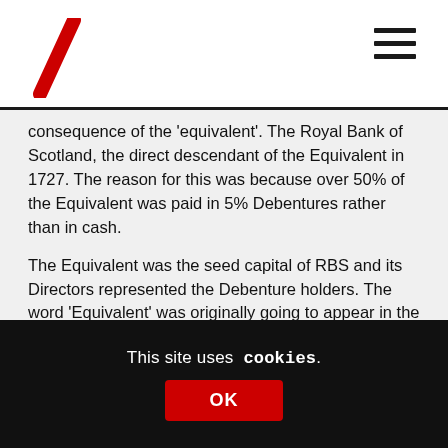[Figure (logo): Red diagonal slash logo (RBS/NatWest style) in top left corner]
[Figure (other): Hamburger menu icon (three horizontal bars) in top right corner]
consequence of the 'equivalent'. The Royal Bank of Scotland, the direct descendant of the Equivalent in 1727. The reason for this was because over 50% of the Equivalent was paid in 5% Debentures rather than in cash.
The Equivalent was the seed capital of RBS and its Directors represented the Debenture holders. The word 'Equivalent' was originally going to appear in the name, but when incorporated finally in 1727 (the Bank of Scotland had a monopoly until 1716) it became RBS.
This site uses cookies.
OK